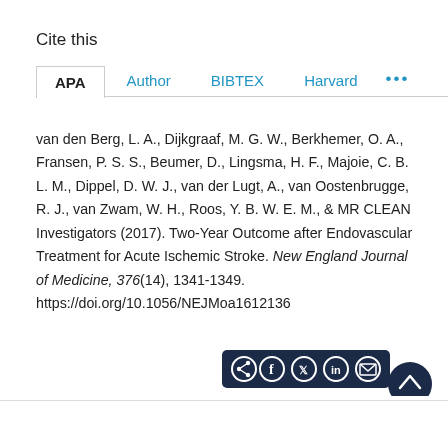Cite this
APA | Author | BIBTEX | Harvard | ...
van den Berg, L. A., Dijkgraaf, M. G. W., Berkhemer, O. A., Fransen, P. S. S., Beumer, D., Lingsma, H. F., Majoie, C. B. L. M., Dippel, D. W. J., van der Lugt, A., van Oostenbrugge, R. J., van Zwam, W. H., Roos, Y. B. W. E. M., & MR CLEAN Investigators (2017). Two-Year Outcome after Endovascular Treatment for Acute Ischemic Stroke. New England Journal of Medicine, 376(14), 1341-1349. https://doi.org/10.1056/NEJMoa1612136